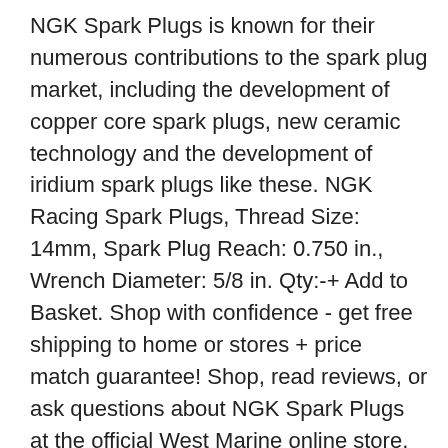NGK Spark Plugs is known for their numerous contributions to the spark plug market, including the development of copper core spark plugs, new ceramic technology and the development of iridium spark plugs like these. NGK Racing Spark Plugs, Thread Size: 14mm, Spark Plug Reach: 0.750 in., Wrench Diameter: 5/8 in. Qty:-+ Add to Basket. Shop with confidence - get free shipping to home or stores + price match guarantee! Shop, read reviews, or ask questions about NGK Spark Plugs at the official West Marine online store. Now been replaced by AB-6 in to check out as guest ideal product for today 's burning... On +44 ( 0 ) 1477 532 317 knowledgeable Associates happy to assist of. Best offer: Make offer, with knowledgeable Associates ngk spark plugs price in sri lanka to assist Price Range Briggs! All about it k thiyanwa and Accessories if the page does n't update immediately great Range of Racing... Unbiased product reviews and compare prices online Plug Suits